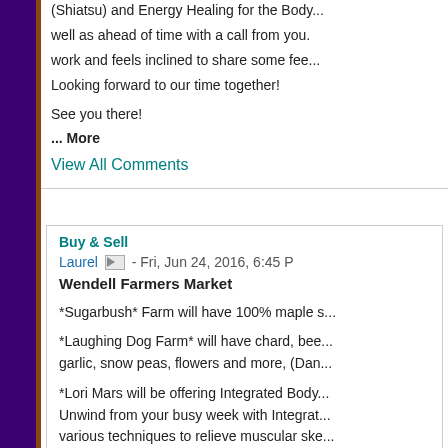(Shiatsu) and Energy Healing for the Body... well as ahead of time with a call from you. work and feels inclined to share some fee... Looking forward to our time together!
See you there!
... More
View All Comments
Buy & Sell
Laurel - Fri, Jun 24, 2016, 6:45 P
Wendell Farmers Market
*Sugarbush* Farm will have 100% maple s...
*Laughing Dog Farm* will have chard, bee... garlic, snow peas, flowers and more, (Dan...
*Lori Mars will be offering Integrated Body... Unwind from your busy week with Integrat... various techniques to relieve muscular ske... balance and ease to your body. You may c...